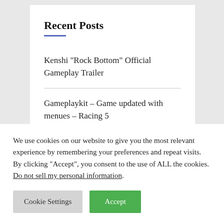Recent Posts
Kenshi "Rock Bottom" Official Gameplay Trailer
Gameplaykit – Game updated with menues – Racing 5
Gameplay of the BL Series "Ingredients"
We use cookies on our website to give you the most relevant experience by remembering your preferences and repeat visits. By clicking “Accept”, you consent to the use of ALL the cookies. Do not sell my personal information.